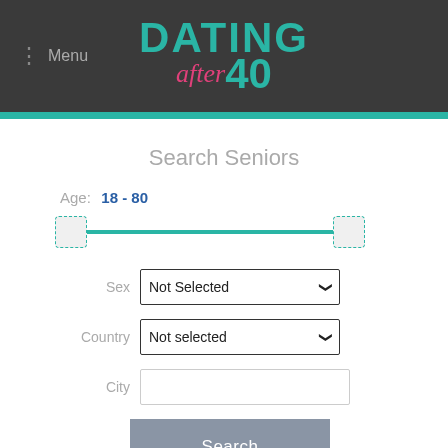Menu | DATING after 40
Search Seniors
Age: 18 - 80
[Figure (other): Range slider with teal track and two thumb handles, set from 18 to 80]
Sex: Not Selected
Country: Not selected
City:
Search
Related Cities:
Murrieta